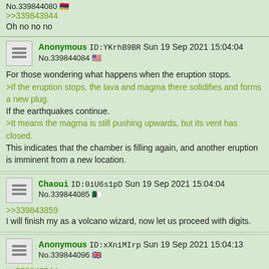No.339844080 [flag]
>>339843944
Oh no no no
Anonymous ID:YKrhB9BR Sun 19 Sep 2021 15:04:04 No.339844084 [flag]
For those wondering what happens when the eruption stops.
>If the eruption stops, the lava and magma there solidifies and forms a new plug.
If the earthquakes continue.
>It means the magma is still pushing upwards, but its vent has closed.
This indicates that the chamber is filling again, and another eruption is imminent from a new location.
Chaoui ID:0iU6s1pD Sun 19 Sep 2021 15:04:04 No.339844085 [flag]
>>339843859
I will finish my as a volcano wizard, now let us proceed with digits.
Anonymous ID:xXniMIrp Sun 19 Sep 2021 15:04:13 No.339844096 [flag]
>>339843944
checked
Anonymous ID:... Sun 19 Sep 2021 15:04:...